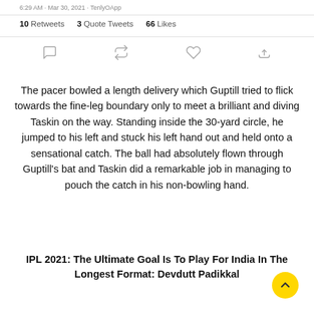6:29 AM · Mar 30, 2021 · TenlyOApp
10 Retweets   3 Quote Tweets   66 Likes
[Figure (other): Twitter action icons row: reply, retweet, like, share]
The pacer bowled a length delivery which Guptill tried to flick towards the fine-leg boundary only to meet a brilliant and diving Taskin on the way. Standing inside the 30-yard circle, he jumped to his left and stuck his left hand out and held onto a sensational catch. The ball had absolutely flown through Guptill's bat and Taskin did a remarkable job in managing to pouch the catch in his non-bowling hand.
IPL 2021: The Ultimate Goal Is To Play For India In The Longest Format: Devdutt Padikkal